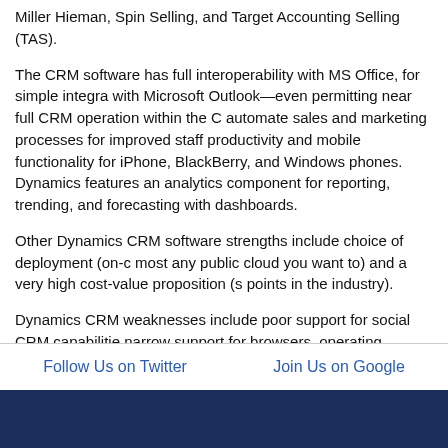Miller Hieman, Spin Selling, and Target Accounting Selling (TAS).
The CRM software has full interoperability with MS Office, for simple integration with Microsoft Outlook—even permitting near full CRM operation within the Outlook automate sales and marketing processes for improved staff productivity and mobile functionality for iPhone, BlackBerry, and Windows phones. Dynamics features an analytics component for reporting, trending, and forecasting with dashboards.
Other Dynamics CRM software strengths include choice of deployment (on-c most any public cloud you want to) and a very high cost-value proposition (s points in the industry).
Dynamics CRM weaknesses include poor support for social CRM capabilities narrow support for browsers, operating systems and databases.
Next - Dynamics AX Capabilities >>
Follow Us on Twitter
Join Us on Google